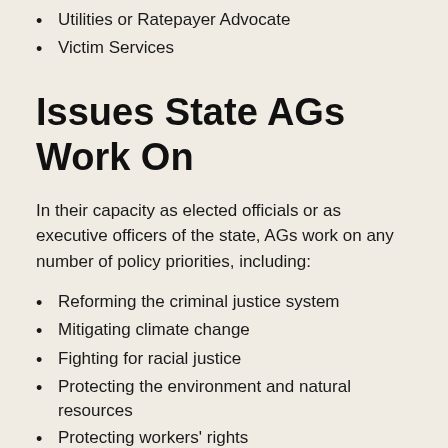Utilities or Ratepayer Advocate
Victim Services
Issues State AGs Work On
In their capacity as elected officials or as executive officers of the state, AGs work on any number of policy priorities, including:
Reforming the criminal justice system
Mitigating climate change
Fighting for racial justice
Protecting the environment and natural resources
Protecting workers' rights
Protecting women's reproductive rights